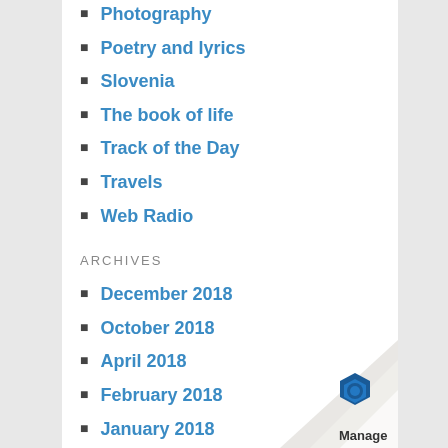Photography
Poetry and lyrics
Slovenia
The book of life
Track of the Day
Travels
Web Radio
ARCHIVES
December 2018
October 2018
April 2018
February 2018
January 2018
July 2017
May 2017
April 2017
March 2017
February 2017
January 2017
December 2016